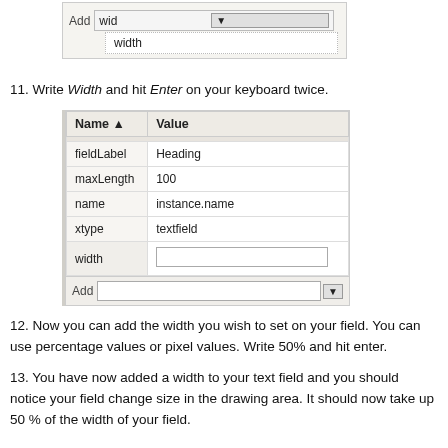[Figure (screenshot): Dropdown input showing 'wid' typed with autocomplete suggestion 'width' below]
11. Write Width and hit Enter on your keyboard twice.
[Figure (screenshot): Properties panel table showing Name/Value columns with rows: fieldLabel=Heading, maxLength=100, name=instance.name, xtype=textfield, width=(empty input field). Below table an Add row with dropdown.]
12. Now you can add the width you wish to set on your field. You can use percentage values or pixel values. Write 50% and hit enter.
13. You have now added a width to your text field and you should notice your field change size in the drawing area. It should now take up 50 % of the width of your field.